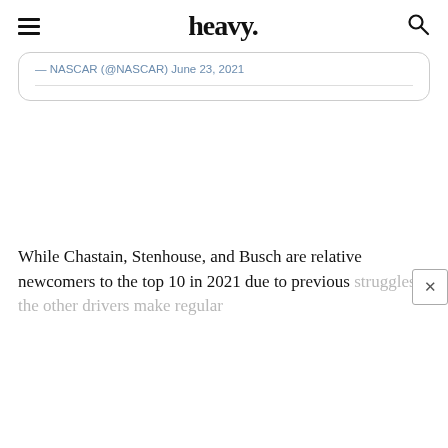heavy.
— NASCAR (@NASCAR) June 23, 2021
While Chastain, Stenhouse, and Busch are relative newcomers to the top 10 in 2021 due to previous struggles, the other drivers make regular